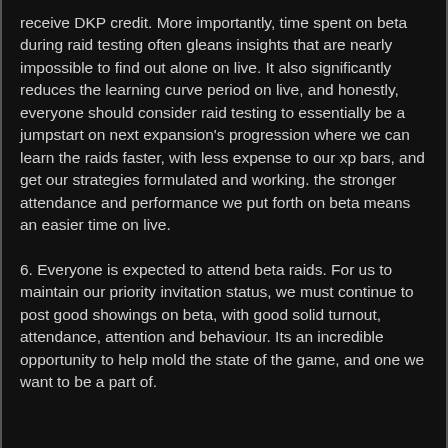receive DKP credit. More importantly, time spent on beta during raid testing often gleans insights that are nearly impossible to find out alone on live. It also significantly reduces the learning curve period on live, and honestly, everyone should consider raid testing to essentially be a jumpstart on next expansion's progression where we can learn the raids faster, with less expense to our xp bars, and get our strategies formulated and working. the stronger attendance and performance we put forth on beta means an easier time on live.
6. Everyone is expected to attend beta raids. For us to maintain our priority invitation status, we must continue to post good showings on beta, with good solid turnout, attendance, attention and behaviour. Its an incredible opportunity to help mold the state of the game, and one we want to be a part of.